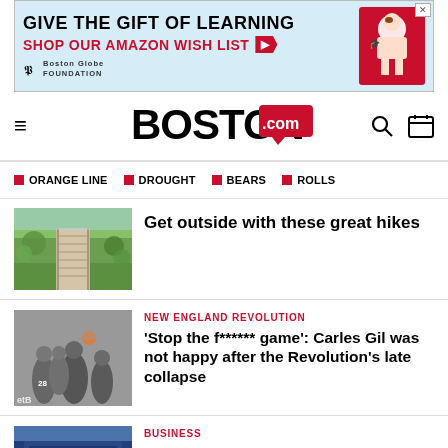[Figure (other): Advertisement banner: GIVE THE GIFT OF LEARNING / SHOP OUR AMAZON WISH LIST with Boston Globe Foundation logo]
BOSTON .com — navigation bar with hamburger menu, search and calendar icons
ORANGE LINE
DROUGHT
BEARS
ROLLS
[Figure (photo): Wooden boardwalk trail through green marshland for hiking article]
Get outside with these great hikes
[Figure (photo): Soccer players in action, New England Revolution game]
NEW ENGLAND REVOLUTION
'Stop the f****** game': Carles Gil was not happy after the Revolution's late collapse
[Figure (photo): AMC movie theater building exterior]
BUSINESS
Bruised but unbowed, meme stock investors are back for more